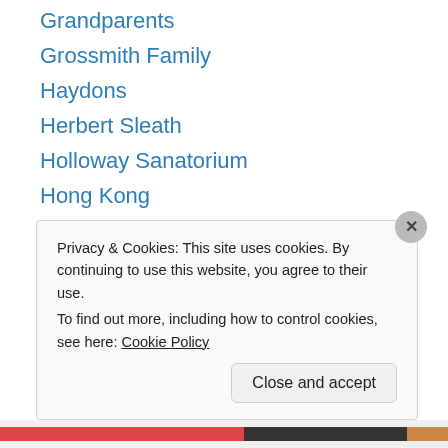Grandparents
Grossmith Family
Haydons
Herbert Sleath
Holloway Sanatorium
Hong Kong
Horsleydown
Houses
Identity
Memories
Mudlarking
North Yorkshire
Norwood School of Industry
Privacy & Cookies: This site uses cookies. By continuing to use this website, you agree to their use.
To find out more, including how to control cookies, see here: Cookie Policy